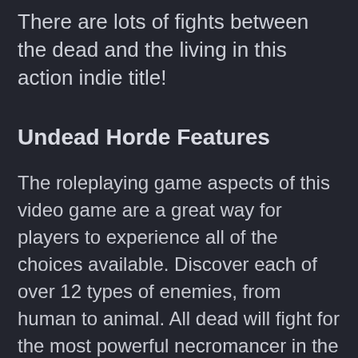There are lots of fights between the dead and the living in this action indie title!
Undead Horde Features
The roleplaying game aspects of this video game are a great way for players to experience all of the choices available. Discover each of over 12 types of enemies, from human to animal. All dead will fight for the most powerful necromancer in the land. Level up and unlock special abilities. In addition, the different minions get upgrades as well. These can be gained through leveling the minions up in battle. There are